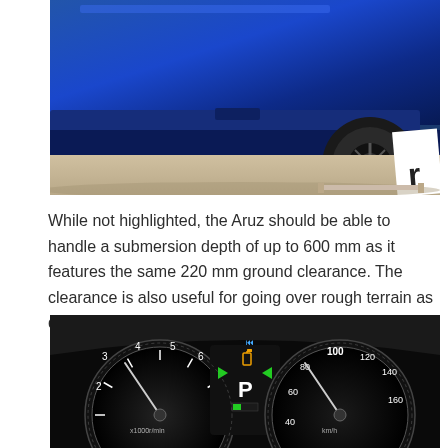[Figure (photo): Rear underside view of a blue Suzuki Aruz/Perodua SUV on a showroom floor with a white stripe/banner partially visible on the right.]
While not highlighted, the Aruz should be able to handle a submersion depth of up to 600 mm as it features the same 220 mm ground clearance. The clearance is also useful for going over rough terrain as damage to the vehicle's underside can be reduced.
[Figure (photo): Close-up interior dashboard view of the Suzuki Aruz/Perodua instrument cluster showing speedometer and tachometer gauges with green indicator lights, fuel gauge, and P (Park) gear indicator, all illuminated against a dark background.]